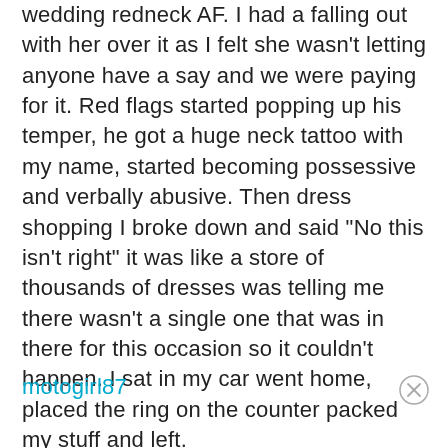wedding redneck AF. I had a falling out with her over it as I felt she wasn't letting anyone have a say and we were paying for it. Red flags started popping up his temper, he got a huge neck tattoo with my name, started becoming possessive and verbally abusive. Then dress shopping I broke down and said "No this isn't right" it was like a store of thousands of dresses was telling me there wasn't a single one that was in there for this occasion so it couldn't happen. I sat in my car went home, placed the ring on the counter packed my stuff and left.
motogirl87